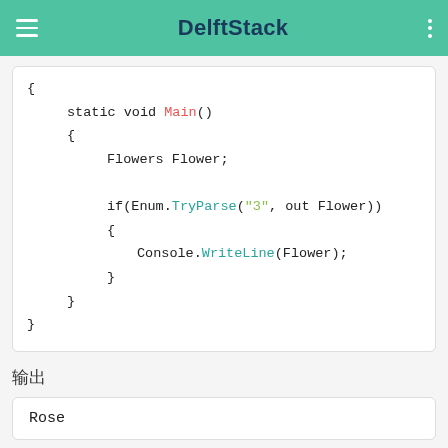DelftStack
[Figure (screenshot): C# code snippet showing static void Main() with Flowers Flower declaration and if(Enum.TryParse("3", out Flower)) block containing Console.WriteLine(Flower)]
输出
[Figure (screenshot): Output block showing: Rose]